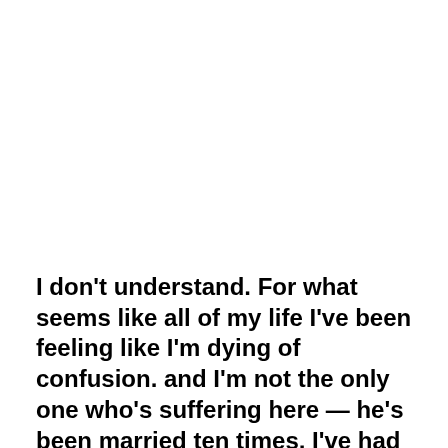I don't understand. For what seems like all of my life I've been feeling like I'm dying of confusion. and I'm not the only one who's suffering here — he's been married ten times, I've had two husbands, all the bad stuff has been put out in the open; all the apologies have been said. I became indifferent to it all a long time ago, yet it still hurts me. So it goes, darling, everything comes down to